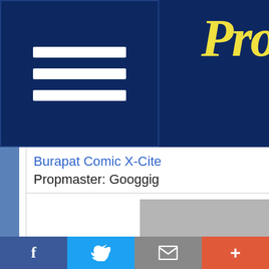[Figure (screenshot): Dark navy blue header bar with hamburger menu icon on the left (three white horizontal lines in a navy box) and partial script/handwritten logo text 'Pro' visible on the right in yellow]
Burapat Comic X-Cite
Propmaster: Googgig
Armor Parts
Final Fantasy VII
Vibulkij Comics
Propmaster: Googgio...
[Figure (infographic): Gray scroll-to-top button with white upward chevron arrow]
f  Twitter-bird  mail  +